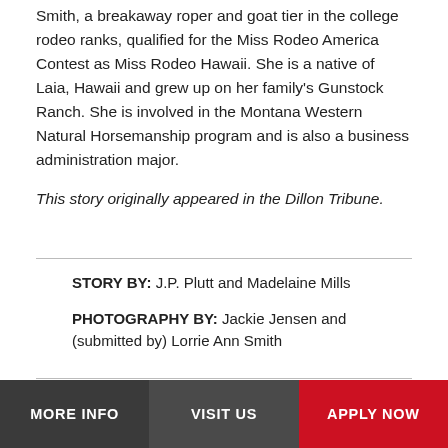Smith, a breakaway roper and goat tier in the college rodeo ranks, qualified for the Miss Rodeo America Contest as Miss Rodeo Hawaii. She is a native of Laia, Hawaii and grew up on her family's Gunstock Ranch. She is involved in the Montana Western Natural Horsemanship program and is also a business administration major.
This story originally appeared in the Dillon Tribune.
STORY BY: J.P. Plutt and Madelaine Mills
PHOTOGRAPHY BY: Jackie Jensen and (submitted by) Lorrie Ann Smith
MORE INFO   VISIT US   APPLY NOW